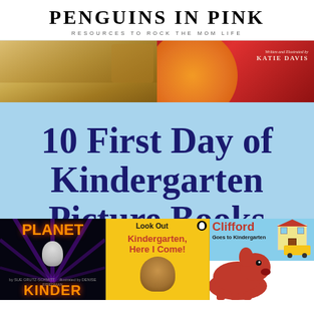PENGUINS IN PINK
RESOURCES TO ROCK THE MOM LIFE
[Figure (illustration): Collage of children's book covers including books by Joseph Slate illustrated by Ashley Wolff and Written and Illustrated by Katie Davis at top, and Planet Kindergarten, Look Out Kindergarten Here I Come, and Clifford Goes to Kindergarten at bottom. Blue overlay with text '10 First Day of Kindergarten Picture Books'. Website URL www.penguinsinpink.com shown.]
10 First Day of Kindergarten Picture Books